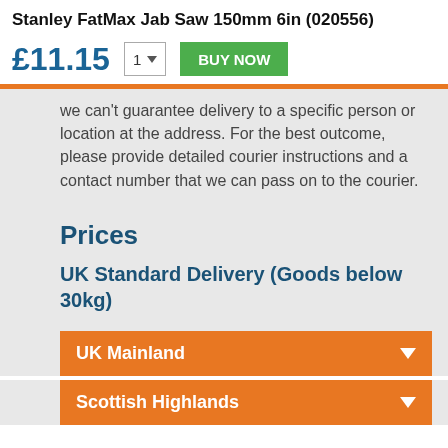Stanley FatMax Jab Saw 150mm 6in (020556)
£11.15
we can't guarantee delivery to a specific person or location at the address. For the best outcome, please provide detailed courier instructions and a contact number that we can pass on to the courier.
Prices
UK Standard Delivery (Goods below 30kg)
UK Mainland
Scottish Highlands